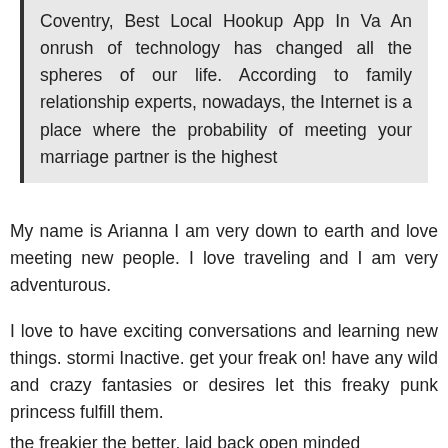Coventry, Best Local Hookup App In Va An onrush of technology has changed all the spheres of our life. According to family relationship experts, nowadays, the Internet is a place where the probability of meeting your marriage partner is the highest
My name is Arianna I am very down to earth and love meeting new people. I love traveling and I am very adventurous.
I love to have exciting conversations and learning new things. stormi Inactive. get your freak on! have any wild and crazy fantasies or desires let this freaky punk princess fulfill them.
the freakier the better. laid back open minded